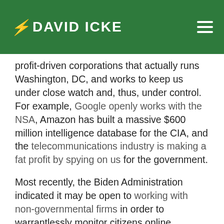DAVID ICKE
profit-driven corporations that actually runs Washington, DC, and works to keep us under close watch and, thus, under control. For example, Google openly works with the NSA, Amazon has built a massive $600 million intelligence database for the CIA, and the telecommunications industry is making a fat profit by spying on us for the government.
Most recently, the Biden Administration indicated it may be open to working with non-governmental firms in order to warrantlessly monitor citizens online.